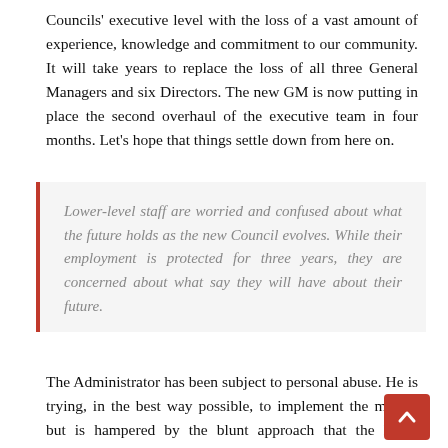Councils' executive level with the loss of a vast amount of experience, knowledge and commitment to our community. It will take years to replace the loss of all three General Managers and six Directors. The new GM is now putting in place the second overhaul of the executive team in four months. Let's hope that things settle down from here on.
Lower-level staff are worried and confused about what the future holds as the new Council evolves. While their employment is protected for three years, they are concerned about what say they will have about their future.
The Administrator has been subject to personal abuse. He is trying, in the best way possible, to implement the merger but is hampered by the blunt approach that the Baird Government has forced him to use. Our entire community has had its vote dismissed by the Premier and the new Council has started under administration for an